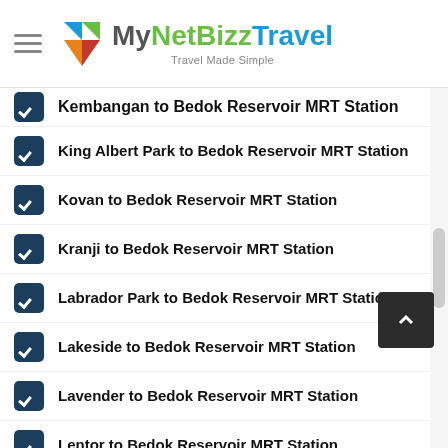MyNetBizzTravel — Travel Made Simple
Kembangan to Bedok Reservoir MRT Station
King Albert Park to Bedok Reservoir MRT Station
Kovan to Bedok Reservoir MRT Station
Kranji to Bedok Reservoir MRT Station
Labrador Park to Bedok Reservoir MRT Station
Lakeside to Bedok Reservoir MRT Station
Lavender to Bedok Reservoir MRT Station
Lentor to Bedok Reservoir MRT Station
Little India to Bedok Reservoir MRT Station
Lorong Chuan to Bedok Reservoir MRT Station
MacPherson to Bedok Reservoir MRT Station
Marina Bay to Bedok Reservoir MRT Station
Marina South Pier to Bedok Reservoir MRT Station